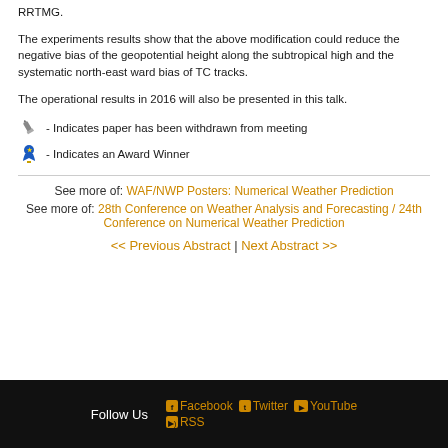RRTMG.
The experiments results show that the above modification could reduce the negative bias of the geopotential height along the subtropical high and the systematic north-east ward bias of TC tracks.
The operational results in 2016 will also be presented in this talk.
✏ - Indicates paper has been withdrawn from meeting
🏆 - Indicates an Award Winner
See more of: WAF/NWP Posters: Numerical Weather Prediction
See more of: 28th Conference on Weather Analysis and Forecasting / 24th Conference on Numerical Weather Prediction
<< Previous Abstract | Next Abstract >>
Follow Us   Facebook  Twitter  YouTube  RSS